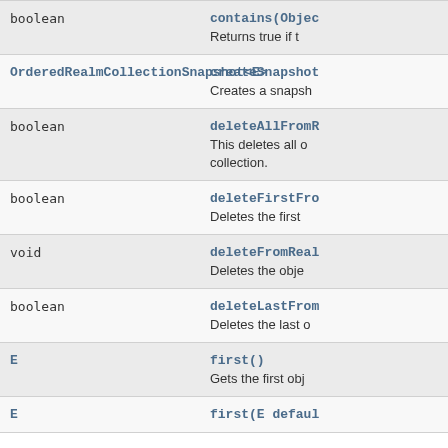| Return Type | Method |
| --- | --- |
| boolean | contains(Objec…
Returns true if t… |
| OrderedRealmCollectionSnapshot<E> | createSnapshot…
Creates a snapsh… |
| boolean | deleteAllFromR…
This deletes all o…
collection. |
| boolean | deleteFirstFro…
Deletes the first … |
| void | deleteFromReal…
Deletes the obje… |
| boolean | deleteLastFrom…
Deletes the last o… |
| E | first()
Gets the first obj… |
| E | first(E defaul… |